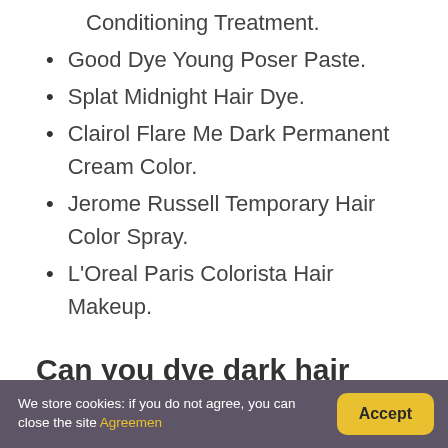Conditioning Treatment.
Good Dye Young Poser Paste.
Splat Midnight Hair Dye.
Clairol Flare Me Dark Permanent Cream Color.
Jerome Russell Temporary Hair Color Spray.
L'Oreal Paris Colorista Hair Makeup.
Can you dye dark hair pink without bleaching?
The first option for coloring dark hair without bleach is to use temporary hair color that’s made to work with a dark base color! These hair dyes are
We store cookies: if you do not agree, you can close the site Agreement